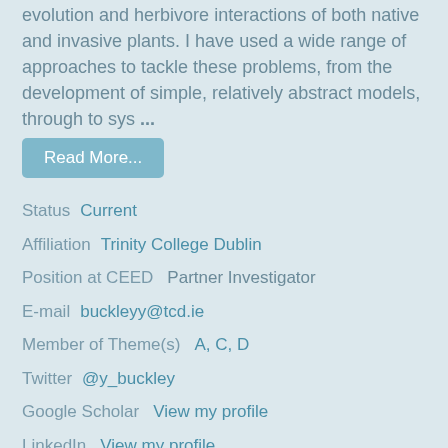evolution and herbivore interactions of both native and invasive plants. I have used a wide range of approaches to tackle these problems, from the development of simple, relatively abstract models, through to sys ...
Read More...
Status  Current
Affiliation  Trinity College Dublin
Position at CEED  Partner Investigator
E-mail  buckleyy@tcd.ie
Member of Theme(s)  A, C, D
Twitter  @y_buckley
Google Scholar  View my profile
LinkedIn  View my profile
ResearcherID  View my profile